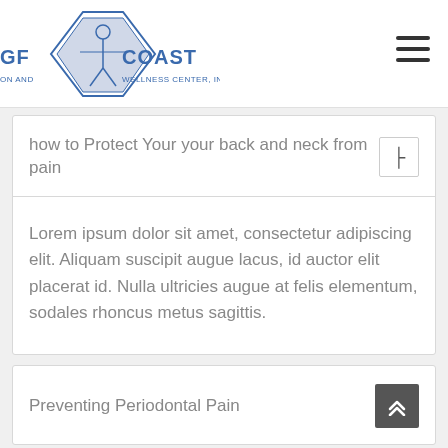[Figure (logo): Gulf Coast Rehabilitation and Wellness Center, Inc. logo with Vitruvian man figure inside a diamond/shield shape, text 'GULF COAST' and 'REHABILITATION AND WELLNESS CENTER, INC.']
how to Protect Your your back and neck from pain
Lorem ipsum dolor sit amet, consectetur adipiscing elit. Aliquam suscipit augue lacus, id auctor elit placerat id. Nulla ultricies augue at felis elementum, sodales rhoncus metus sagittis.
Preventing Periodontal Pain